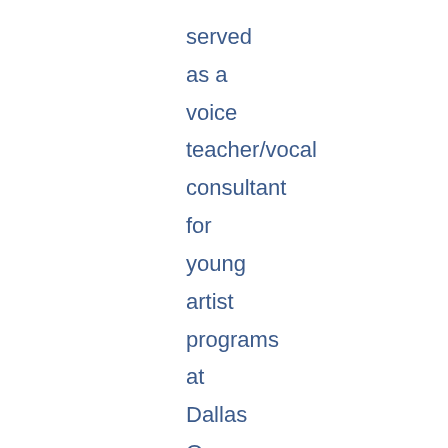served as a voice teacher/vocal consultant for young artist programs at Dallas Opera, Ft. Worth Opera,